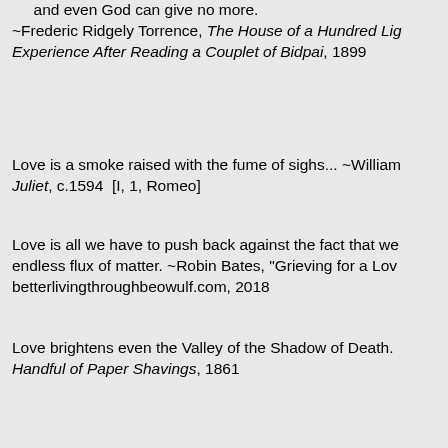and even God can give no more. ~Frederic Ridgely Torrence, The House of a Hundred Lights: Experience After Reading a Couplet of Bidpai, 1899
Love is a smoke raised with the fume of sighs... ~William Shakespeare, Romeo and Juliet, c.1594 [I, 1, Romeo]
Love is all we have to push back against the fact that we are just a temporary endless flux of matter. ~Robin Bates, "Grieving for a Love," betterlivingthroughbeowulf.com, 2018
Love brightens even the Valley of the Shadow of Death. ~Handful of Paper Shavings, 1861
Before you pledge your undying love to someone, make sure they're not going to die. ~Robert Brault, rbrault.blogspot.com
There's no denying that the only real unhappiness in life isn't nature's greatest mistake — falling in love is. If we cut in life would be cut right out of it. Oh my goodness, so w